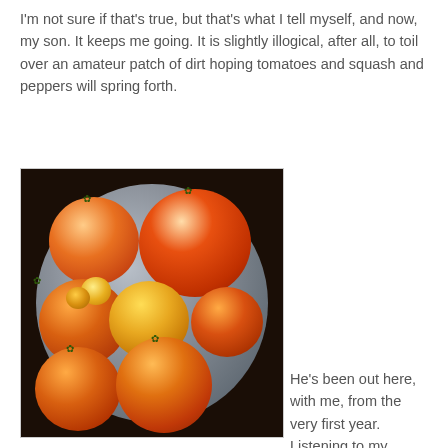I'm not sure if that's true, but that's what I tell myself, and now, my son. It keeps me going. It is slightly illogical, after all, to toil over an amateur patch of dirt hoping tomatoes and squash and peppers will spring forth.
[Figure (photo): A metal bowl filled with various tomatoes of different sizes and shades — large red-orange tomatoes, smaller yellow-orange tomatoes, all fresh from the garden, photographed on a dark wooden surface.]
He's been out here, with me, from the very first year. Listening to my stories about gardening when I was his age, digging the holes, harvesting the fruits of our labor.